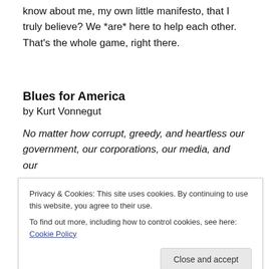know about me, my own little manifesto, that I truly believe? We *are* here to help each other. That's the whole game, right there.
Blues for America
by Kurt Vonnegut
No matter how corrupt, greedy, and heartless our government, our corporations, our media, and our
Privacy & Cookies: This site uses cookies. By continuing to use this website, you agree to their use. To find out more, including how to control cookies, see here: Cookie Policy
Close and accept
THE ONLY PROOF HE NEEDED